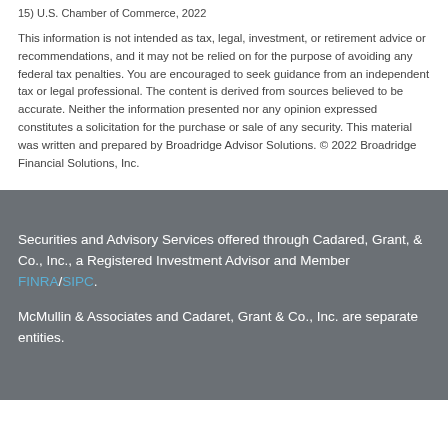15) U.S. Chamber of Commerce, 2022
This information is not intended as tax, legal, investment, or retirement advice or recommendations, and it may not be relied on for the purpose of avoiding any federal tax penalties. You are encouraged to seek guidance from an independent tax or legal professional. The content is derived from sources believed to be accurate. Neither the information presented nor any opinion expressed constitutes a solicitation for the purchase or sale of any security. This material was written and prepared by Broadridge Advisor Solutions. © 2022 Broadridge Financial Solutions, Inc.
Securities and Advisory Services offered through Cadared, Grant, & Co., Inc., a Registered Investment Advisor and Member FINRA/SIPC.
McMullin & Associates and Cadaret, Grant & Co., Inc. are separate entities.